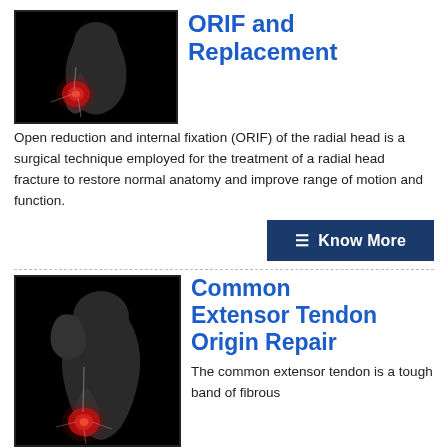[Figure (photo): Medical X-ray style image of an elbow/arm joint with red highlighted injury area on black background]
ORIF and Replacement
Open reduction and internal fixation (ORIF) of the radial head is a surgical technique employed for the treatment of a radial head fracture to restore normal anatomy and improve range of motion and function.
[Figure (photo): Medical X-ray style image of a shoulder/wrist joint area with red highlighted injury area on black background]
Common Extensor Tendon Origin Repair
The common extensor tendon is a tough band of fibrous connective tissue that attaches to the lateral epicondyle of the humerus (long bone in the upper